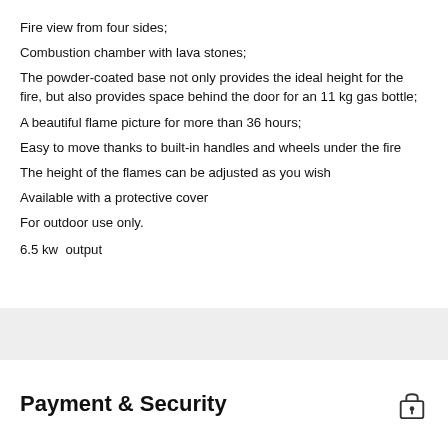Fire view from four sides;
Combustion chamber with lava stones;
The powder-coated base not only provides the ideal height for the fire, but also provides space behind the door for an 11 kg gas bottle;
A beautiful flame picture for more than 36 hours;
Easy to move thanks to built-in handles and wheels under the fire
The height of the flames can be adjusted as you wish
Available with a protective cover
For outdoor use only.
6.5 kw  output
Payment & Security